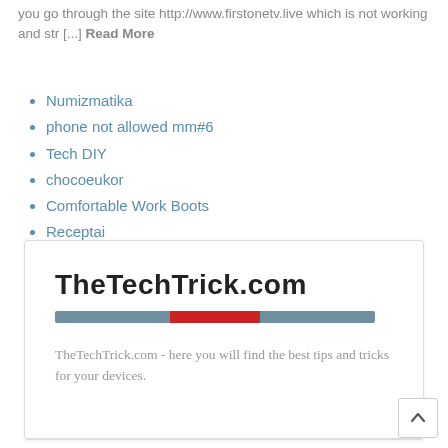you go through the site http://www.firstonetv.live which is not working and str [...] Read More
Numizmatika
phone not allowed mm#6
Tech DIY
chocoeukor
Comfortable Work Boots
Receptai
[Figure (logo): TheTechTrick.com logo with bold text and a three-segment colored bar (gray, red, gray) below, followed by tagline text]
TheTechTrick.com - here you will find the best tips and tricks for your devices.